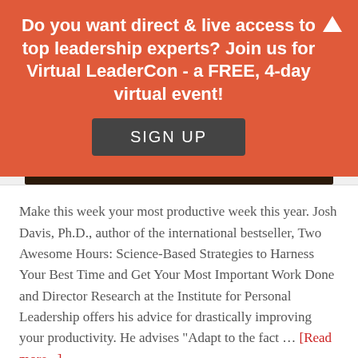Do you want direct & live access to top leadership experts? Join us for Virtual LeaderCon - a FREE, 4-day virtual event!
SIGN UP
Make this week your most productive week this year. Josh Davis, Ph.D., author of the international bestseller, Two Awesome Hours: Science-Based Strategies to Harness Your Best Time and Get Your Most Important Work Done and Director Research at the Institute for Personal Leadership offers his advice for drastically improving your productivity. He advises "Adapt to the fact … [Read more...]